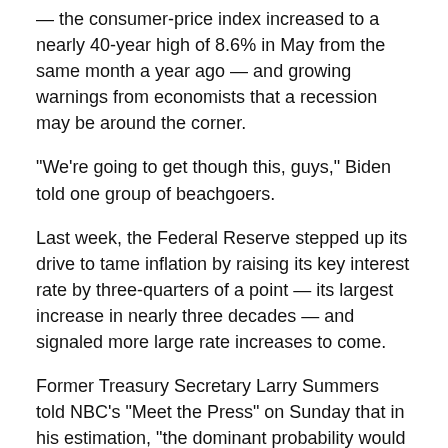— the consumer-price index increased to a nearly 40-year high of 8.6% in May from the same month a year ago — and growing warnings from economists that a recession may be around the corner.
“We’re going to get though this, guys,” Biden told one group of beachgoers.
Last week, the Federal Reserve stepped up its drive to tame inflation by raising its key interest rate by three-quarters of a point — its largest increase in nearly three decades — and signaled more large rate increases to come.
Former Treasury Secretary Larry Summers told NBC’s “Meet the Press” on Sunday that in his estimation, “the dominant probability would be that by the end of next year we would be seeing a recession in the American economy.”